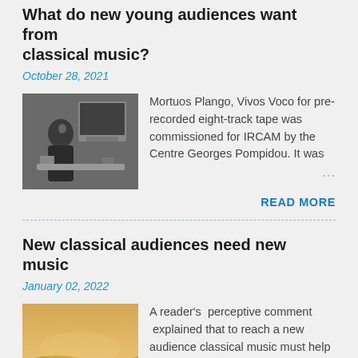What do new young audiences want from classical music?
October 28, 2021
[Figure (photo): Black and white photo of an older man sitting at a computer workstation]
Mortuos Plango, Vivos Voco for pre-recorded eight-track tape was commissioned for IRCAM by the Centre Georges Pompidou. It was ...
READ MORE
New classical audiences need new music
January 02, 2022
[Figure (photo): Color photo of a sandy desert landscape with warm golden sky]
A reader's  perceptive comment  explained that to reach a new audience classical music must help listeners across the classical/non- ...
READ MORE